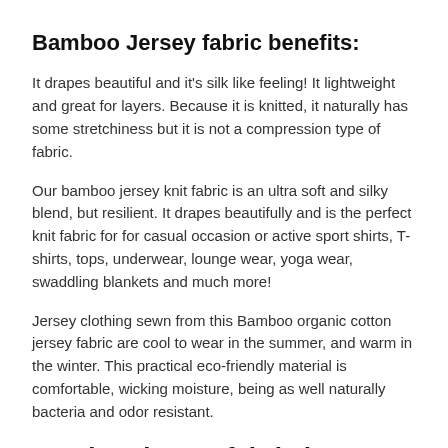Bamboo Jersey fabric benefits:
It drapes beautiful and it's silk like feeling! It lightweight and great for layers. Because it is knitted, it naturally has some stretchiness but it is not a compression type of fabric.
Our bamboo jersey knit fabric is an ultra soft and silky blend, but resilient. It drapes beautifully and is the perfect knit fabric for for casual occasion or active sport shirts, T-shirts, tops, underwear, lounge wear, yoga wear, swaddling blankets and much more!
Jersey clothing sewn from this Bamboo organic cotton jersey fabric are cool to wear in the summer, and warm in the winter. This practical eco-friendly material is comfortable, wicking moisture, being as well naturally bacteria and odor resistant.
Bamboo jersey fabric has some of the great comfortable properties,